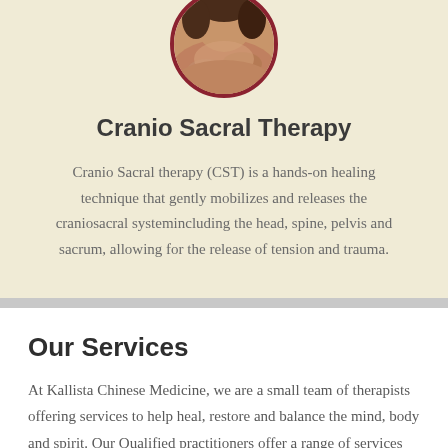[Figure (photo): Circular cropped photo of a person receiving hands-on therapy, shown from above, with a dark red/maroon circular border]
Cranio Sacral Therapy
Cranio Sacral therapy (CST) is a hands-on healing technique that gently mobilizes and releases the craniosacral systemincluding the head, spine, pelvis and sacrum, allowing for the release of tension and trauma.
Our Services
At Kallista Chinese Medicine, we are a small team of therapists offering services to help heal, restore and balance the mind, body and spirit. Our Qualified practitioners offer a range of services including Acupuncture & Chinese Herbal Medicine, Osteopathy,